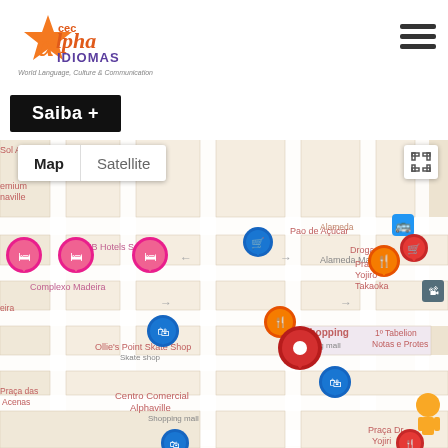[Figure (logo): CEC Alpha Idiomas logo with orange star and text 'cec Alpha IDIOMAS - World Language, Culture & Communication']
Saiba +
[Figure (map): Google Maps view showing Alphaville area with markers for various locations including AlphaShopping, Complexo Madeira, HB Hotels Sequoia, Ollie's Point Skate Shop, Centro Comercial Alphaville, Droga Raia, Praça Dr. Yojiro Takaoka, 1º Tabelion Notas e Protes. Map/Satellite toggle visible at top left. Red location pin at center marking the school location.]